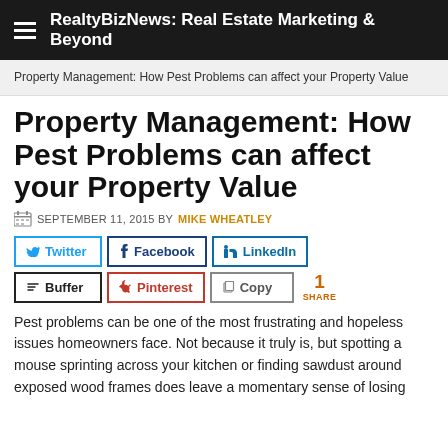RealtyBizNews: Real Estate Marketing & Beyond
Property Management: How Pest Problems can affect your Property Value
Property Management: How Pest Problems can affect your Property Value
SEPTEMBER 11, 2015 BY MIKE WHEATLEY
[Figure (infographic): Social sharing buttons: Twitter, Facebook, LinkedIn, Buffer, Pinterest, Copy, with share count of 1]
Pest problems can be one of the most frustrating and hopeless issues homeowners face. Not because it truly is, but spotting a mouse sprinting across your kitchen or finding sawdust around exposed wood frames does leave a momentary sense of losing